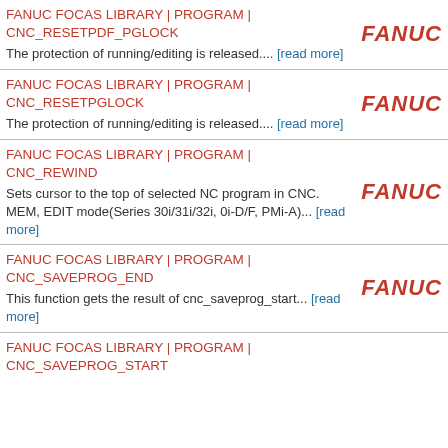FANUC FOCAS LIBRARY | PROGRAM | CNC_RESETPDF_PGLOCK
The protection of running/editing is released.... [read more]
FANUC FOCAS LIBRARY | PROGRAM | CNC_RESETPGLOCK
The protection of running/editing is released.... [read more]
FANUC FOCAS LIBRARY | PROGRAM | CNC_REWIND
Sets cursor to the top of selected NC program in CNC. MEM, EDIT mode(Series 30i/31i/32i, 0i-D/F, PMi-A)... [read more]
FANUC FOCAS LIBRARY | PROGRAM | CNC_SAVEPROG_END
This function gets the result of cnc_saveprog_start... [read more]
FANUC FOCAS LIBRARY | PROGRAM | CNC_SAVEPROG_START